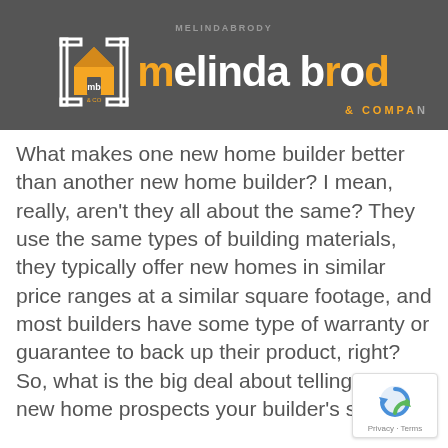[Figure (logo): Melinda Brody & Company logo on dark grey header bar with orange house icon and white/orange text reading 'melinda bro' (partially cut off) and '& COMPANY' in orange below]
What makes one new home builder better than another new home builder? I mean, really, aren't they all about the same? They use the same types of building materials, they typically offer new homes in similar price ranges at a similar square footage, and most builders have some type of warranty or guarantee to back up their product, right? So, what is the big deal about telling your new home prospects your builder's story?